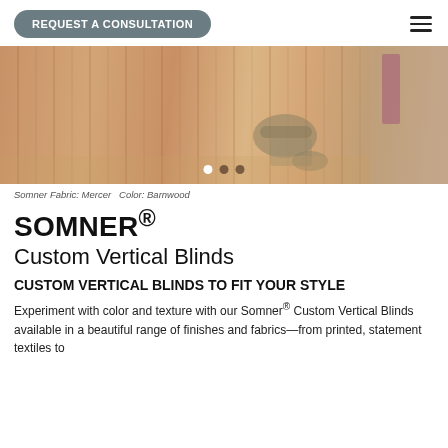REQUEST A CONSULTATION
[Figure (photo): Interior room with vertical wooden slatted wall panels in warm barnwood tones, a modern chair and ottoman in green-gray fabric, a person walking in background. Carousel with 3 dots below image.]
Somner Fabric: Mercer   Color: Barnwood
SOMNER®
Custom Vertical Blinds
CUSTOM VERTICAL BLINDS TO FIT YOUR STYLE
Experiment with color and texture with our Somner® Custom Vertical Blinds available in a beautiful range of finishes and fabrics—from printed, statement textiles to